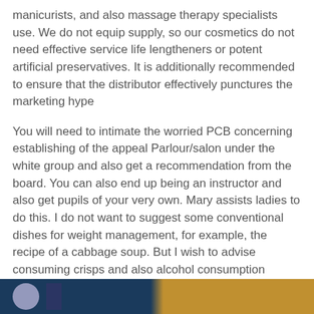manicurists, and also massage therapy specialists use. We do not equip supply, so our cosmetics do not need effective service life lengtheners or potent artificial preservatives. It is additionally recommended to ensure that the distributor effectively punctures the marketing hype
You will need to intimate the worried PCB concerning establishing of the appeal Parlour/salon under the white group and also get a recommendation from the board. You can also end up being an instructor and also get pupils of your very own. Mary assists ladies to do this. I do not want to suggest some conventional dishes for weight management, for example, the recipe of a cabbage soup. But I wish to advise consuming crisps and also alcohol consumption mineral water
Cream
[Figure (photo): Partial image strip at the bottom of the page showing a dark navy/blue left section with a circular avatar and a dark bar, and a golden/amber right section.]